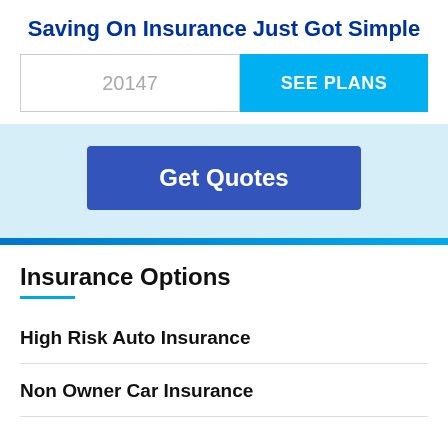Saving On Insurance Just Got Simple
20147
SEE PLANS
Get Quotes
Insurance Options
High Risk Auto Insurance
Non Owner Car Insurance